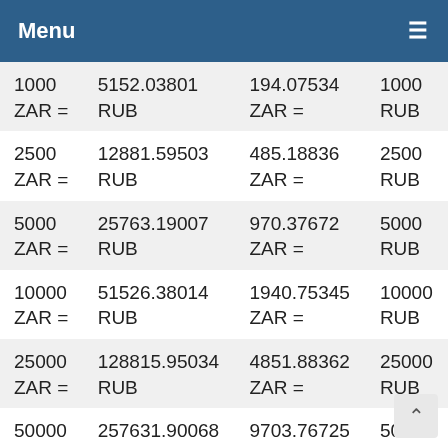Menu ≡
| 1000 ZAR = | 5152.03801 RUB | 194.07534 ZAR = | 1000 RUB |
| 2500 ZAR = | 12881.59503 RUB | 485.18836 ZAR = | 2500 RUB |
| 5000 ZAR = | 25763.19007 RUB | 970.37672 ZAR = | 5000 RUB |
| 10000 ZAR = | 51526.38014 RUB | 1940.75345 ZAR = | 10000 RUB |
| 25000 ZAR = | 128815.95034 RUB | 4851.88362 ZAR = | 25000 RUB |
| 50000 ZAR = | 257631.90068 RUB | 9703.76725 ZAR = | 50000 RUB |